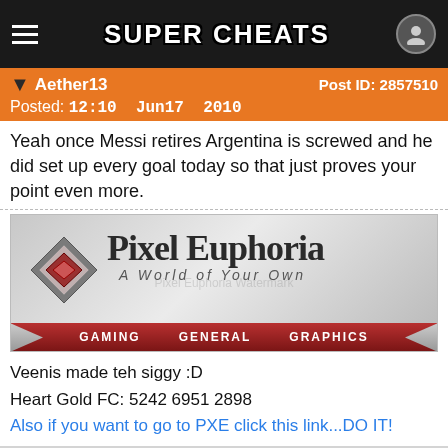SUPER CHEATS
Aether13  Post ID: 2857510  Posted: 12:10 Jun17 2010
Yeah once Messi retires Argentina is screwed and he did set up every goal today so that just proves your point even more.
[Figure (illustration): Pixel Euphoria banner - A World of Your Own, with Gaming, General, Graphics navigation]
Veenis made teh siggy :D
Heart Gold FC: 5242 6951 2898
Also if you want to go to PXE click this link...DO IT!
Reply   Quote & Reply   Multi Quote
PhilXZ  Post ID: 2857568